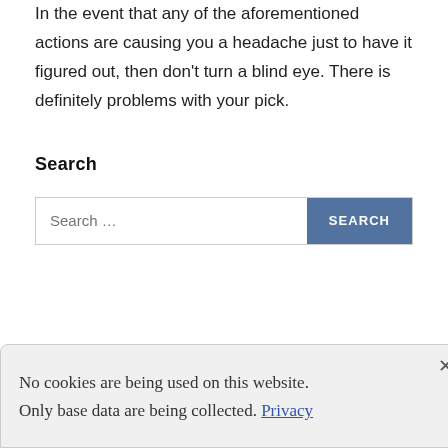In the event that any of the aforementioned actions are causing you a headache just to have it figured out, then don't turn a blind eye. There is definitely problems with your pick.
Search
[Figure (screenshot): Search input field with placeholder text 'Search ...' and a blue 'SEARCH' button]
No cookies are being used on this website. Only base data are being collected. Privacy